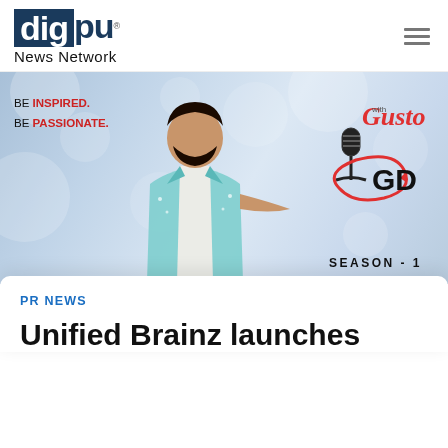[Figure (logo): Digpu News Network logo with dark blue box containing 'dig' text, 'pu' in dark blue, registered trademark symbol, and 'News Network' subtitle below]
[Figure (photo): Promotional banner image for 'Gusto with GD' Season 1. Features a man in a teal/white sequined blazer pointing at camera against a bokeh light background. Text reads 'BE INSPIRED. BE PASSIONATE.' on left. 'Gusto with GD' logo with microphone graphic on right. 'SEASON - 1' text at bottom right.]
PR NEWS
Unified Brainz launches